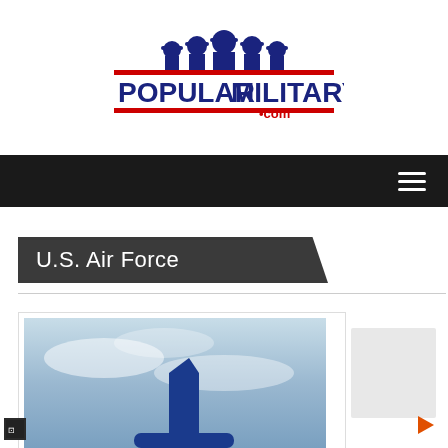[Figure (logo): PopularMilitary.com logo with military figures in caps above bold blue text reading POPULARMILITARY with red horizontal lines and .com in smaller text]
[Figure (other): Dark navigation bar with hamburger menu icon (three white horizontal lines) on the right side]
U.S. Air Force
[Figure (photo): Photograph of an aircraft tail/fin visible against a cloudy sky background, partially cropped]